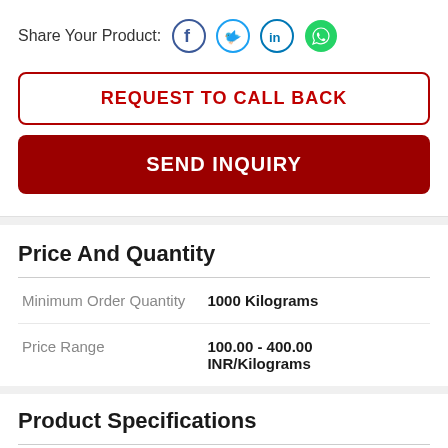Share Your Product:
[Figure (infographic): Social share icons: Facebook, Twitter, LinkedIn, WhatsApp]
REQUEST TO CALL BACK
SEND INQUIRY
Price And Quantity
|  |  |
| --- | --- |
| Minimum Order Quantity | 1000 Kilograms |
| Price Range | 100.00 - 400.00 INR/Kilograms |
Product Specifications
|  |  |
| --- | --- |
| Part | Leaves |